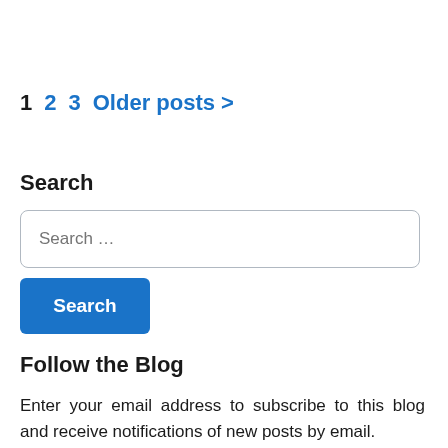1  2  3  Older posts >
Search
Search ...
Search
Follow the Blog
Enter your email address to subscribe to this blog and receive notifications of new posts by email.